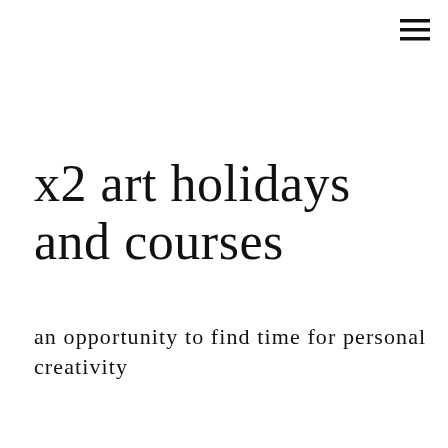[Figure (other): Hamburger menu icon (three horizontal lines) in top right corner]
x2 art holidays and courses
an opportunity to find time for personal creativity